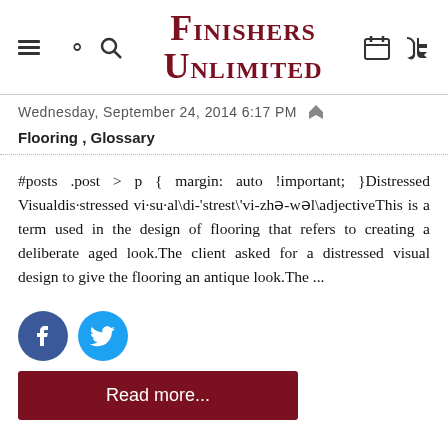Finishers Unlimited
Wednesday, September 24, 2014 6:17 PM
Flooring , Glossary
#posts .post > p { margin: auto !important; }Distressed Visualdis·stressed vi·su·al\di-'strest\'vi-zhə-wəl\adjectiveThis is a term used in the design of flooring that refers to creating a deliberate aged look.The client asked for a distressed visual design to give the flooring an antique look.The ...
[Figure (logo): Facebook and Twitter social share buttons]
Read more...